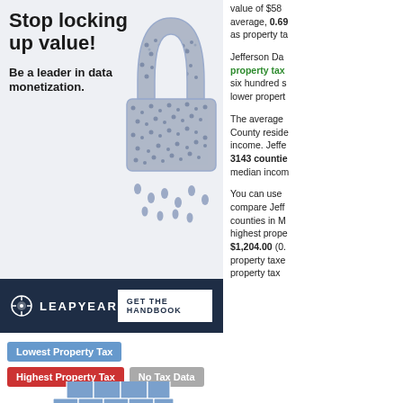[Figure (illustration): Advertisement banner with text 'Stop locking up value! Be a leader in data monetization.' and an image of a padlock shape made of people, with Leapyear branding and a 'Get the Handbook' button]
[Figure (map): Map of Mississippi counties colored in blue shades, with a single county at the bottom highlighted in yellow/gold (Jefferson Davis County). Legend shows: Lowest Property Tax (blue), Highest Property Tax (red), No Tax Data (gray).]
value of $58... average, 0.69... as property ta...
Jefferson Da... property tax ... six hundred s... lower propert...
The average ... County reside... income. Jeffe... 3143 countie... median incom...
You can use ... compare Jeff... counties in M... highest prope... $1,204.00 (0.... property taxe... property tax...